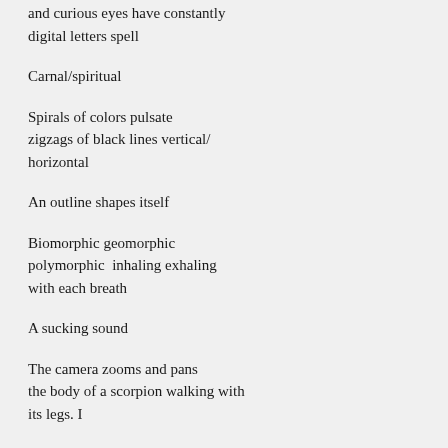and curious eyes have constantly
digital letters spell
Carnal/spiritual
Spirals of colors pulsate
zigzags of black lines vertical/
horizontal
An outline shapes itself
Biomorphic geomorphic
polymorphic  inhaling exhaling
with each breath
A sucking sound
The camera zooms and pans
the body of a scorpion walking with
its legs. I
its legs. I